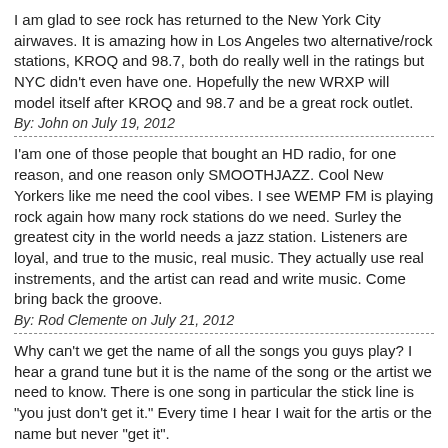I am glad to see rock has returned to the New York City airwaves. It is amazing how in Los Angeles two alternative/rock stations, KROQ and 98.7, both do really well in the ratings but NYC didn't even have one. Hopefully the new WRXP will model itself after KROQ and 98.7 and be a great rock outlet.
By: John on July 19, 2012
I'am one of those people that bought an HD radio, for one reason, and one reason only SMOOTHJAZZ. Cool New Yorkers like me need the cool vibes. I see WEMP FM is playing rock again how many rock stations do we need. Surley the greatest city in the world needs a jazz station. Listeners are loyal, and true to the music, real music. They actually use real instrements, and the artist can read and write music. Come bring back the groove.
By: Rod Clemente on July 21, 2012
Why can't we get the name of all the songs you guys play? I hear a grand tune but it is the name of the song or the artist we need to know. There is one song in particular the stick line is "you just don't get it." Every time I hear I wait for the artis or the name but never "get it".
By: Pierre on August 25, 2012